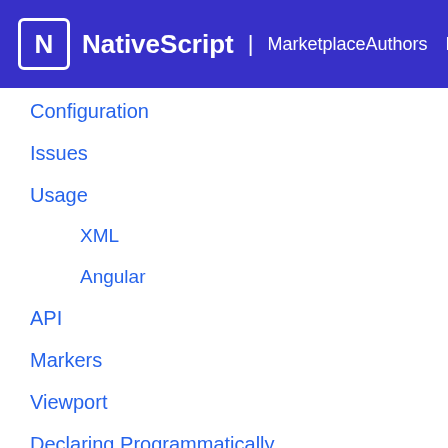NativeScript | MarketplaceAuthors NativeScript
Configuration
Issues
Usage
XML
Angular
API
Markers
Viewport
Declaring Programmatically
Methods
show
hide
unhide
destroy 🔗
setMapStyle